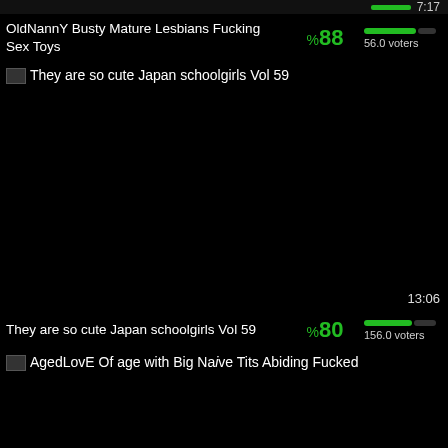[Figure (screenshot): Top strip with green progress bar and timestamp 7:17]
OldNannY Busty Mature Lesbians Fucking Sex Toys  %88  56.0 voters
[Figure (screenshot): Thumbnail placeholder for Japan schoolgirls Vol 59 video, large black area with timestamp 13:06]
They are so cute Japan schoolgirls Vol 59  %80  156.0 voters
[Figure (screenshot): Thumbnail placeholder for AgedLovE video]
AgedLovE Of age with Big Naive Tits Abiding Fucked